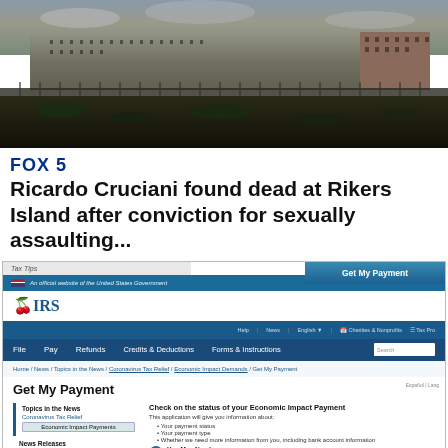[Figure (photo): Aerial or distant photo of Rikers Island prison facility showing fences, buildings, and dark ground]
FOX 5
Ricardo Cruciani found dead at Rikers Island after conviction for sexually assaulting...
[Figure (screenshot): Screenshot of IRS.gov website showing the 'Get My Payment' page with navigation bar, IRS logo, breadcrumb navigation, and content sections including 'Topics in the News' sidebar with Coronavirus Tax Relief and Economic Impact Payments links, and main content 'Check on the status of your Economic Impact Payment']